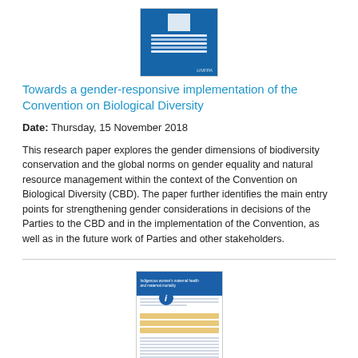[Figure (illustration): Thumbnail of a report cover with blue background and UN-style logo]
Towards a gender-responsive implementation of the Convention on Biological Diversity
Date: Thursday, 15 November 2018
This research paper explores the gender dimensions of biodiversity conservation and the global norms on gender equality and natural resource management within the context of the Convention on Biological Diversity (CBD). The paper further identifies the main entry points for strengthening gender considerations in decisions of the Parties to the CBD and in the implementation of the Convention, as well as in the future work of Parties and other stakeholders.
[Figure (illustration): Thumbnail of a second report with blue header, information icon, yellow highlighted rows, and logos at the bottom]
Indigenous women's maternal health and maternal mortality